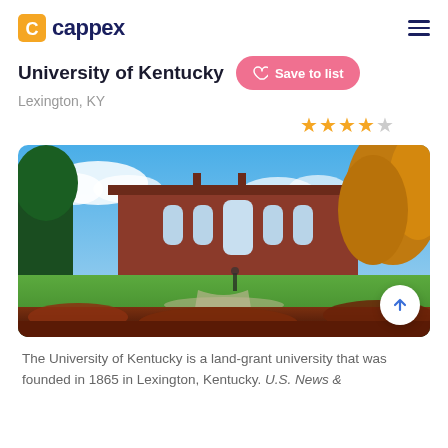cappex
University of Kentucky
Lexington, KY
[Figure (photo): Autumn campus photo of University of Kentucky showing a red brick academic building with large windows, surrounded by trees with fall foliage in orange and gold, green lawn in the foreground, blue sky with clouds overhead, and fallen leaves in the foreground.]
The University of Kentucky is a land-grant university that was founded in 1865 in Lexington, Kentucky. U.S. News &